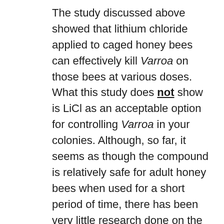The study discussed above showed that lithium chloride applied to caged honey bees can effectively kill Varroa on those bees at various doses. What this study does not show is LiCl as an acceptable option for controlling Varroa in your colonies. Although, so far, it seems as though the compound is relatively safe for adult honey bees when used for a short period of time, there has been very little research done on the effects of LiCl on developing bees. The early research that has been done shows that LiCl has a strong lethal effect on at least honey bee larvae.
There is a lot of promise in the potential of using lithium as a Varroa control mechanism in the future; however, until